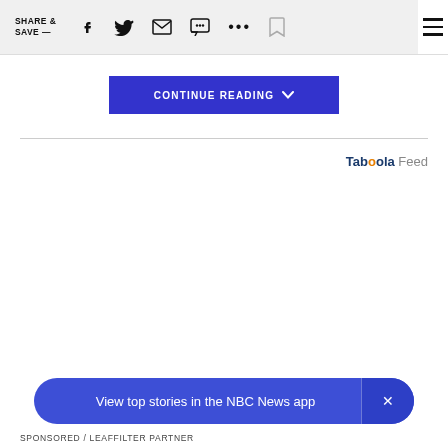SHARE & SAVE —
CONTINUE READING
Taboola Feed
View top stories in the NBC News app
SPONSORED / LEAFFILTER PARTNER